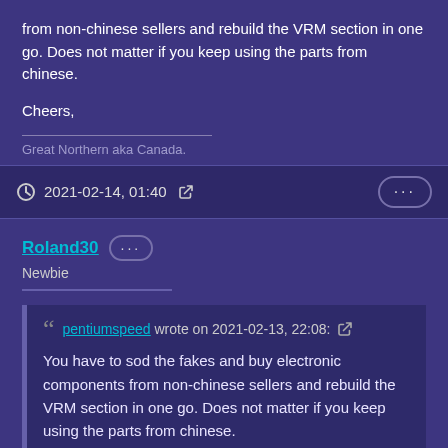from non-chinese sellers and rebuild the VRM section in one go. Does not matter if you keep using the parts from chinese.
Cheers,
Great Northern aka Canada.
2021-02-14, 01:40
Roland30
Newbie
pentiumspeed wrote on 2021-02-13, 22:08: You have to sod the fakes and buy electronic components from non-chinese sellers and rebuild the VRM section in one go. Does not matter if you keep using the parts from chinese.